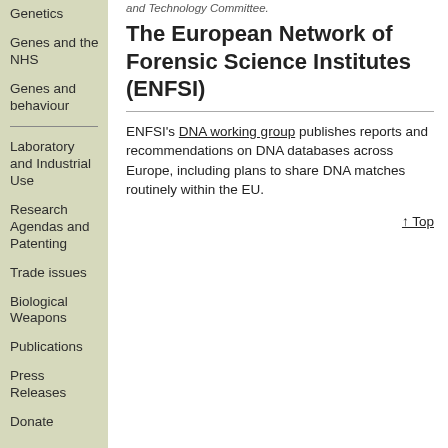and Technology Committee.
Genetics
Genes and the NHS
Genes and behaviour
Laboratory and Industrial Use
Research Agendas and Patenting
Trade issues
Biological Weapons
Publications
Press Releases
Donate
The European Network of Forensic Science Institutes (ENFSI)
ENFSI's DNA working group publishes reports and recommendations on DNA databases across Europe, including plans to share DNA matches routinely within the EU.
↑ Top